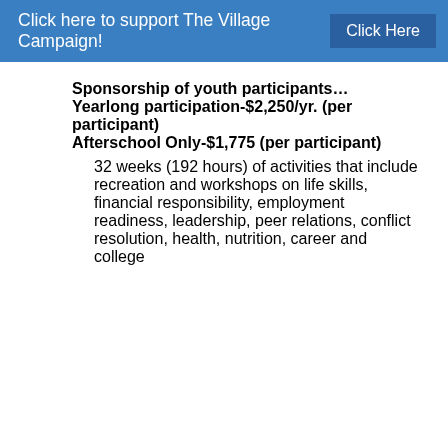Click here to support The Village Campaign!  Click Here
Sponsorship of youth participants…
Yearlong participation-$2,250/yr. (per participant)
Afterschool Only-$1,775 (per participant)
32 weeks (192 hours) of activities that include recreation and workshops on life skills, financial responsibility, employment readiness, leadership, peer relations, conflict resolution, health, nutrition, career and college education…